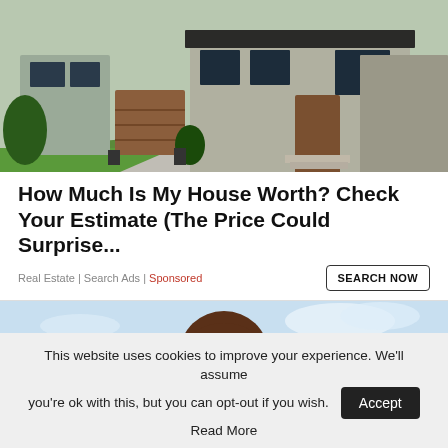[Figure (photo): Exterior photo of a modern luxury house with stone facade, wooden garage door, green lawn, and paved driveway]
How Much Is My House Worth? Check Your Estimate (The Price Could Surprise...
Real Estate | Search Ads | Sponsored
[Figure (photo): Partial photo of a person with brown hair against a light blue sky background]
This website uses cookies to improve your experience. We'll assume you're ok with this, but you can opt-out if you wish.
Read More